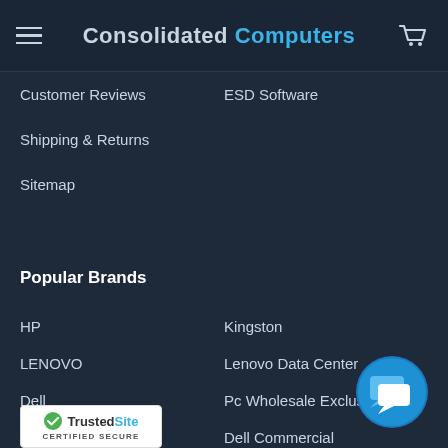Consolidated Computers
Customer Reviews
ESD Software
Shipping & Returns
Sitemap
Popular Brands
HP
Kingston
LENOVO
Lenovo Data Center
Dell
Pc Wholesale Exclusive
Samsung
Dell Commercial
Hp Inc.
View All
[Figure (logo): TrustedSite Certified Secure badge]
[Figure (other): Chat support button - blue circular button with chat bubble icons]